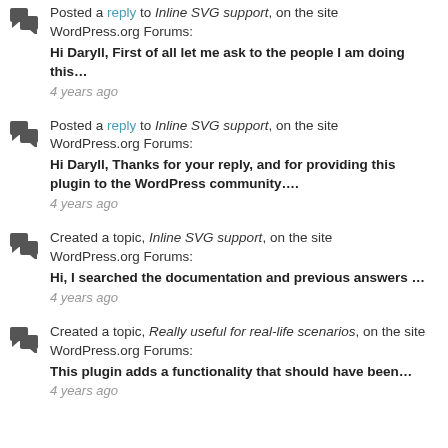Posted a reply to Inline SVG support, on the site WordPress.org Forums: Hi Daryll, First of all let me ask to the people I am doing this… 4 years ago
Posted a reply to Inline SVG support, on the site WordPress.org Forums: Hi Daryll, Thanks for your reply, and for providing this plugin to the WordPress community…. 4 years ago
Created a topic, Inline SVG support, on the site WordPress.org Forums: Hi, I searched the documentation and previous answers … 4 years ago
Created a topic, Really useful for real-life scenarios, on the site WordPress.org Forums: This plugin adds a functionality that should have been… 4 years ago